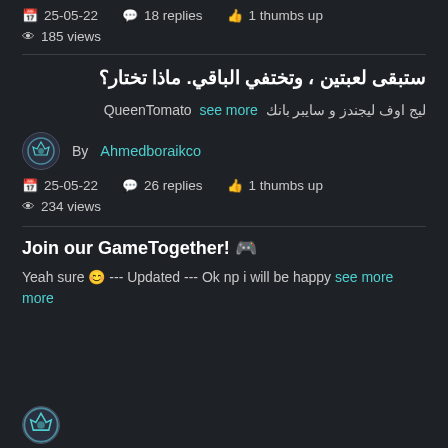25-05-22  18 replies  1 thumbs up  185 views
ستبقى لعبتين ، وتختفي الباقي. ماذا تختار؟
ليج اوف ليجندز و سايبر بانك QueenTomato see more
By Ahmedboraikco
25-05-22  26 replies  1 thumbs up  234 views
Join our GameTogether! 🎮
Yeah sure 😊 --- Updated --- Ok np i will be happy see more